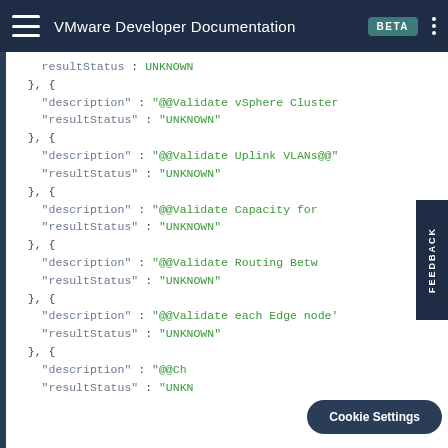VMware Developer Documentation BETA
[Figure (screenshot): JSON code snippet showing multiple objects with 'description' and 'resultStatus' fields. The resultStatus values are all 'UNKNOWN' and descriptions reference @@Validate vSphere Cluster, @@Validate Uplink VLANs@@, @@Validate Capacity for, @@Validate Routing Betw, @@Validate each Edge node, @@Ch...]
Cookie Settings